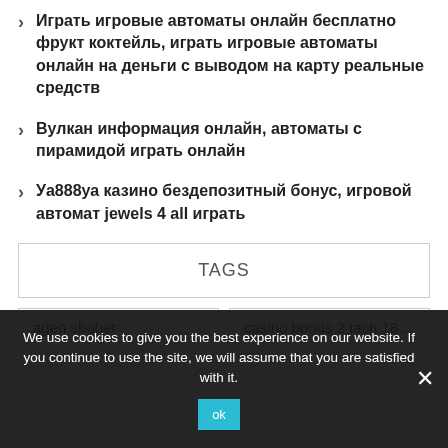Играть игровые автоматы онлайн бесплатно фрукт коктейль, играть игровые автоматы онлайн на деньги с выводом на карту реальные средств
Вулкан информация онлайн, автоматы с пирамидой играть онлайн
Уа888уа казино бездепозитный бонус, игровой автомат jewels 4 all играть
TAGS
agen sbobet
casino bonus 2 tach 18dm oil 5 red
We use cookies to give you the best experience on our website. If you continue to use the site, we will assume that you are satisfied with it.